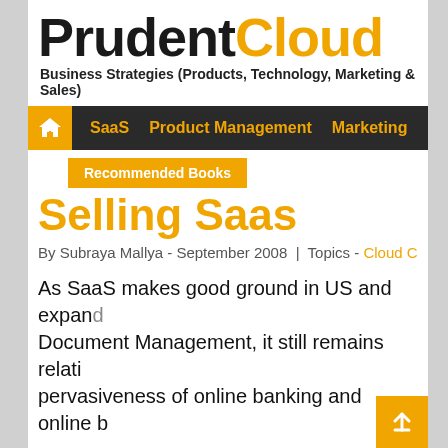PrudentCloud
Business Strategies (Products, Technology, Marketing & Sales)
SaaS | Product Management | Marketing | Recommended Books
Selling Saas
By Subraya Mallya - September 2008 | Topics - Cloud Com...
As SaaS makes good ground in US and expand... Document Management, it still remains relati... pervasiveness of online banking and online b...
I just returned back from a extended business... SaaS application for managing Capital Pr... Barring an executive or two in some mulina...